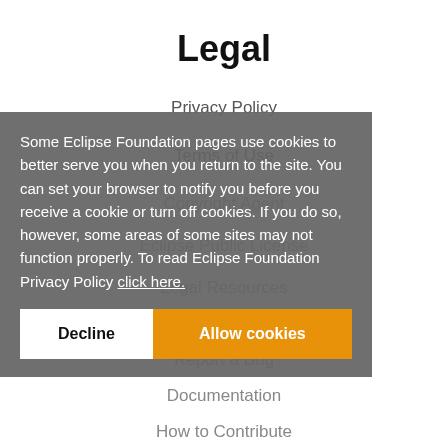Legal
Privacy Policy
Terms of Use
Copyright Agent
Eclipse Public License
Legal Resources
Useful Links
Report a Bug
Documentation
How to Contribute
Mailing Lists
Forums
Marketplace
Some Eclipse Foundation pages use cookies to better serve you when you return to the site. You can set your browser to notify you before you receive a cookie or turn off cookies. If you do so, however, some areas of some sites may not function properly. To read Eclipse Foundation Privacy Policy click here.